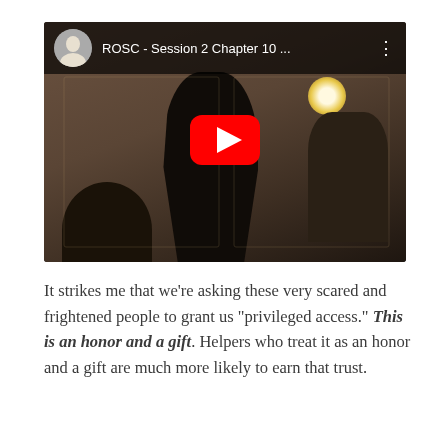[Figure (screenshot): YouTube video thumbnail showing a presenter in a dark suit gesturing to an audience, with the video title 'ROSC - Session 2 Chapter 10 ...' displayed in the top bar along with a circular avatar photo of an older man, and a red YouTube play button in the center.]
It strikes me that we're asking these very scared and frightened people to grant us "privileged access." This is an honor and a gift. Helpers who treat it as an honor and a gift are much more likely to earn that trust.